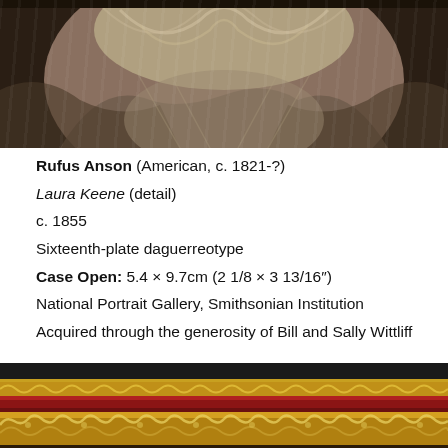[Figure (photo): Sepia-toned close-up photograph showing the torso and ruffled collar/neckline area of a person (Laura Keene), cropped detail from a daguerreotype.]
Rufus Anson (American, c. 1821-?)
Laura Keene (detail)
c. 1855
Sixteenth-plate daguerreotype
Case Open: 5.4 × 9.7cm (2 1/8 × 3 13/16")
National Portrait Gallery, Smithsonian Institution
Acquired through the generosity of Bill and Sally Wittliff
[Figure (photo): Bottom portion of an ornate daguerreotype case shown open, with decorative gold scrollwork border on black backing, a red velvet interior band, and elaborate gilded floral/scroll pattern at the bottom.]